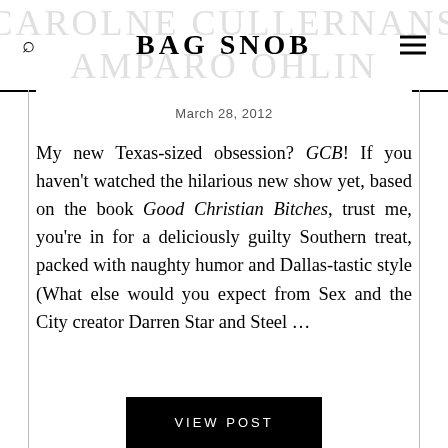BAG SNOB
March 28, 2012
My new Texas-sized obsession? GCB! If you haven't watched the hilarious new show yet, based on the book Good Christian Bitches, trust me, you're in for a deliciously guilty Southern treat, packed with naughty humor and Dallas-tastic style (What else would you expect from Sex and the City creator Darren Star and Steel …